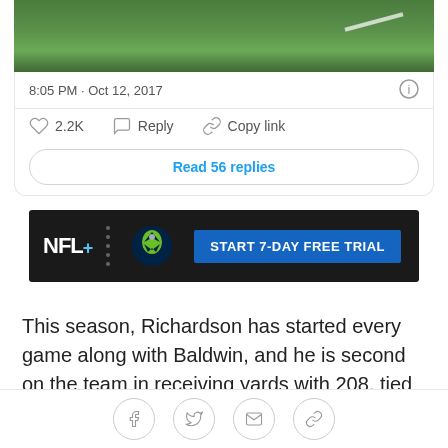[Figure (photo): Green grass football field with white yard line visible]
8:05 PM · Oct 12, 2017
♡ 2.2K  Reply  Copy link
Read 56 replies
[Figure (other): NFL+ advertisement banner with Seahawks logo and START 7-DAY FREE TRIAL button]
This season, Richardson has started every game along with Baldwin, and he is second on the team in receiving yards with 208, tied for the team lead in receiving touchdowns with two, and his 14.9 yard-per-catch
[Figure (other): Social sharing icons: Facebook, Twitter, email, link]